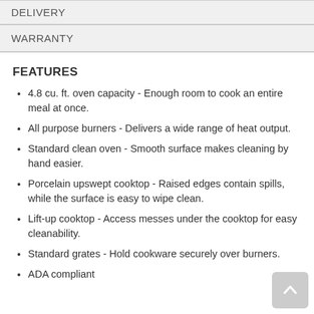DELIVERY
WARRANTY
FEATURES
4.8 cu. ft. oven capacity - Enough room to cook an entire meal at once.
All purpose burners - Delivers a wide range of heat output.
Standard clean oven - Smooth surface makes cleaning by hand easier.
Porcelain upswept cooktop - Raised edges contain spills, while the surface is easy to wipe clean.
Lift-up cooktop - Access messes under the cooktop for easy cleanability.
Standard grates - Hold cookware securely over burners.
ADA compliant